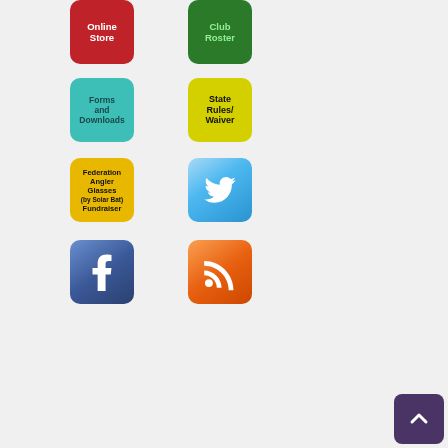[Figure (illustration): Red Online Store button]
[Figure (illustration): Green Club Roster button]
[Figure (illustration): Teal Forms and Downloads button]
[Figure (illustration): Yellow State Rules/Waiver button]
[Figure (illustration): Gold Federation Angler Glasses Fundraiser button]
[Figure (logo): Twitter logo button (blue bird icon)]
[Figure (logo): Facebook logo button (blue f icon)]
[Figure (logo): RSS feed logo button (orange RSS icon)]
[Figure (illustration): Back to top purple button with upward chevron arrow]